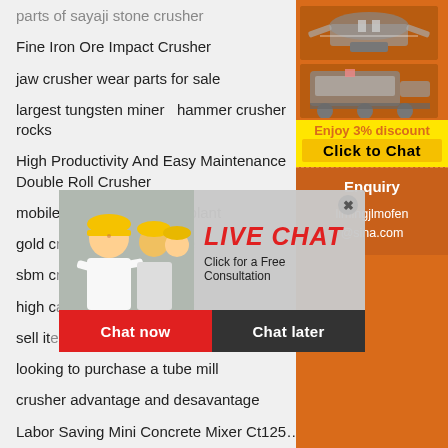parts of sayaji stone crusher
Fine Iron Ore Impact Crusher
jaw crusher wear parts for sale
largest tungsten miner   hammer crusher rocks
High Productivity And Easy Maintenance Double Roll Crusher
mobile crusher for mining plant
gold d...
sbm c...
high c...
sell it...
looking to purchase a tube mill
crusher advantage and desavantage
Labor Saving Mini Concrete Mixer Ct125 Mn
limestone crusher run in south yorkshire
concrete grinding machine in uae
silica sand washing machinery crusher for sale
[Figure (screenshot): Live Chat popup overlay with a smiling woman in a hard hat, 'LIVE CHAT' text in red italic, 'Click for a Free Consultation' subtitle, Chat now and Chat later buttons]
[Figure (infographic): Right sidebar with orange background showing mining/crushing machines, Enjoy 3% discount banner, Click to Chat button, Enquiry section, and limingjlmofen@sina.com email]